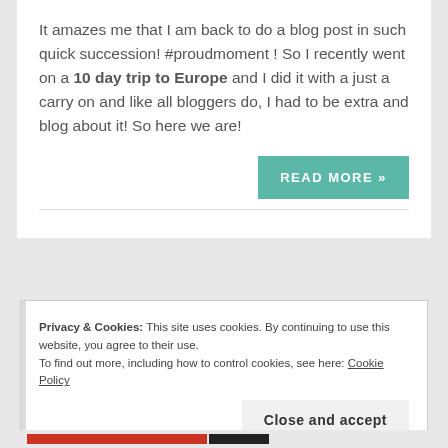It amazes me that I am back to do a blog post in such quick succession! #proudmoment ! So I recently went on a 10 day trip to Europe and I did it with a just a carry on and like all bloggers do, I had to be extra and blog about it! So here we are!
READ MORE »
Privacy & Cookies: This site uses cookies. By continuing to use this website, you agree to their use.
To find out more, including how to control cookies, see here: Cookie Policy
Close and accept